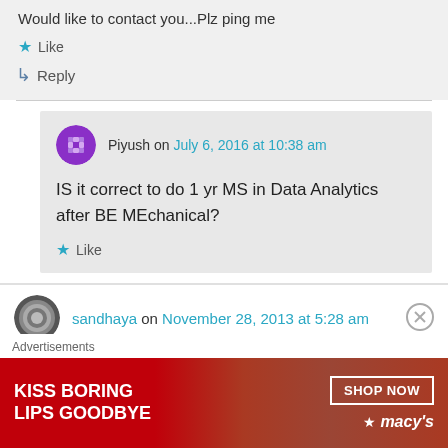Would like to contact you...Plz ping me
★ Like
↳ Reply
Piyush on July 6, 2016 at 10:38 am
IS it correct to do 1 yr MS in Data Analytics after BE MEchanical?
★ Like
sandhaya on November 28, 2013 at 5:28 am
[Figure (infographic): Advertisement banner: KISS BORING LIPS GOODBYE with SHOP NOW button and Macy's logo on red background]